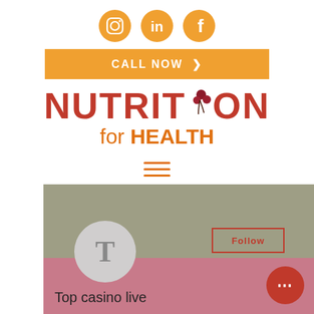[Figure (logo): Three social media icons (Instagram, LinkedIn, Facebook) in orange circles]
[Figure (other): Orange CALL NOW button with chevron arrow]
[Figure (logo): Nutrition for Health logo with berry illustration, red and orange text]
[Figure (other): Hamburger menu icon with three orange horizontal lines]
[Figure (screenshot): Social media profile card with gray and pink sections, avatar circle with T, Follow button, more options button, and Top casino live text]